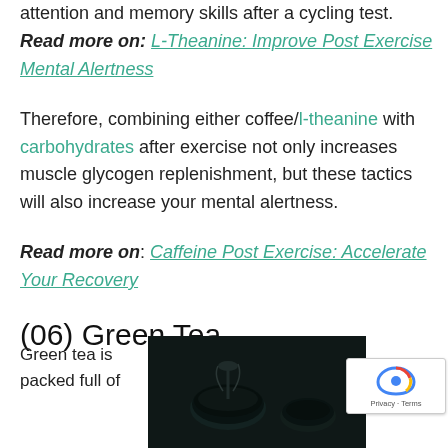attention and memory skills after a cycling test. Read more on: L-Theanine: Improve Post Exercise Mental Alertness
Therefore, combining either coffee/l-theanine with carbohydrates after exercise not only increases muscle glycogen replenishment, but these tactics will also increase your mental alertness.
Read more on: Caffeine Post Exercise: Accelerate Your Recovery
(06) Green Tea
Green tea is packed full of
[Figure (photo): Dark overhead photo of green tea cups/teapot on dark background]